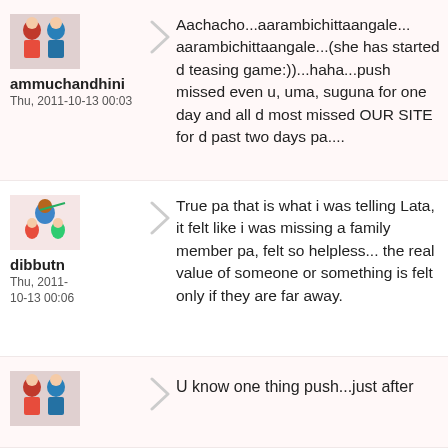[Figure (photo): Avatar photo of two people (man and woman)]
ammuchandhini
Thu, 2011-10-13 00:03
Aachacho...aarambichittaangale... aarambichittaangale...(she has started d teasing game:))...haha...push missed even u, uma, suguna for one day and all d most missed OUR SITE for d past two days pa....
[Figure (illustration): Avatar illustration of Krishna deity figure]
dibbutn
Thu, 2011-10-13 00:06
True pa that is what i was telling Lata, it felt like i was missing a family member pa, felt so helpless... the real value of someone or something is felt only if they are far away.
[Figure (photo): Avatar photo of two people (man and woman)]
U know one thing push...just after